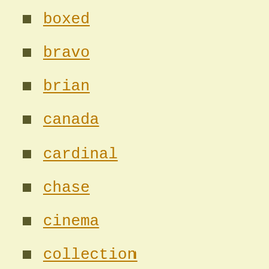boxed
bravo
brian
canada
cardinal
chase
cinema
collection
comic
confusing
craven
custom
david
deleted
disturbing
dokken
doyle
dream
electric